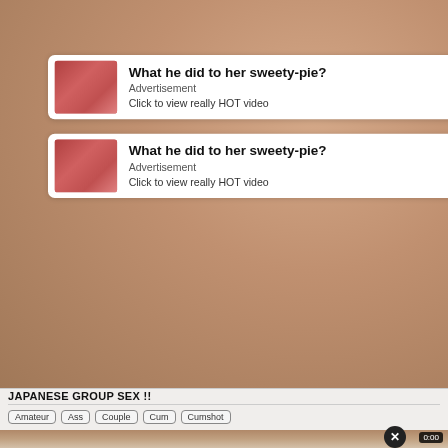[Figure (screenshot): Background adult content image]
What he did to her sweety-pie?
Advertisement
Click to view really HOT video
What he did to her sweety-pie?
Advertisement
Click to view really HOT video
JAPANESE GROUP SEX !!
Amateur
Ass
Couple
Cum
Cumshot
[Figure (screenshot): Video player showing woman with 0:00 timer]
[Figure (screenshot): Video overlay close button X]